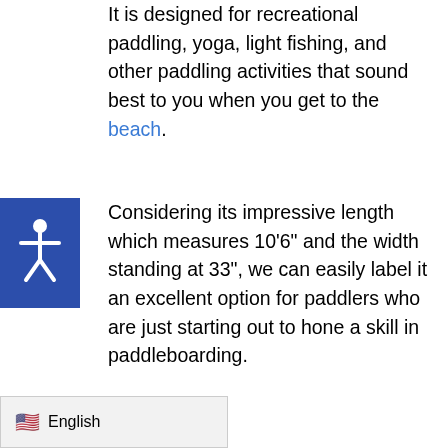It is designed for recreational paddling, yoga, light fishing, and other paddling activities that sound best to you when you get to the beach.
Considering its impressive length which measures 10'6" and the width standing at 33", we can easily label it an excellent option for paddlers who are just starting out to hone a skill in paddleboarding.
Interestingly, the extra width comes with extra stability, you wouldn't agree less that every beginner needs to stay on the deck and maintain balance. Its thickness comes at a universal 6 inches, making it capable of handling higher rider weight.
To reinforce the hull of the paddle board, the manufacturer goes for a machine-orchestrated double process, sealing the core and the coat